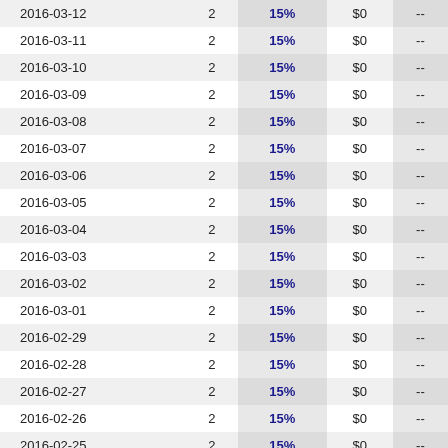| 2016-03-12 | 2 | 15% | $0 | -- |
| 2016-03-11 | 2 | 15% | $0 | -- |
| 2016-03-10 | 2 | 15% | $0 | -- |
| 2016-03-09 | 2 | 15% | $0 | -- |
| 2016-03-08 | 2 | 15% | $0 | -- |
| 2016-03-07 | 2 | 15% | $0 | -- |
| 2016-03-06 | 2 | 15% | $0 | -- |
| 2016-03-05 | 2 | 15% | $0 | -- |
| 2016-03-04 | 2 | 15% | $0 | -- |
| 2016-03-03 | 2 | 15% | $0 | -- |
| 2016-03-02 | 2 | 15% | $0 | -- |
| 2016-03-01 | 2 | 15% | $0 | -- |
| 2016-02-29 | 2 | 15% | $0 | -- |
| 2016-02-28 | 2 | 15% | $0 | -- |
| 2016-02-27 | 2 | 15% | $0 | -- |
| 2016-02-26 | 2 | 15% | $0 | -- |
| 2016-02-25 | 2 | 15% | $0 | -- |